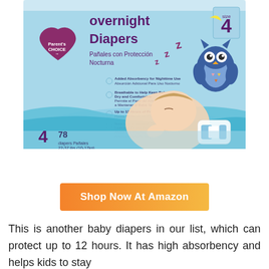[Figure (photo): Parent's Choice Overnight Diapers product box. Size 4, 78 diapers, 22-37 lbs (10-17kg). Shows sleeping baby on blue blanket, owl graphic, and bilingual feature callouts. Features: Added Absorbency for Nighttime Use, Breathable to Help Keep Baby Dry and Comfortable, Up to 12 Hours of Protection, Now with Improved Overnight Leakage Protection.]
Shop Now At Amazon
This is another baby diapers in our list, which can protect up to 12 hours. It has high absorbency and helps kids to stay